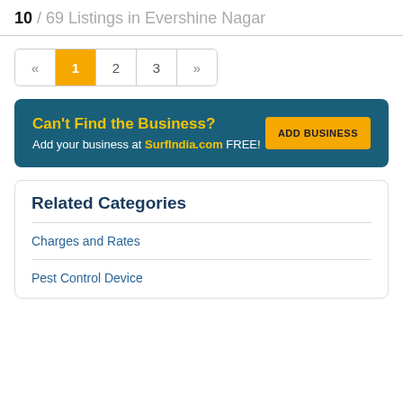10 / 69 Listings in Evershine Nagar
« 1 2 3 »
[Figure (infographic): Advertisement banner with dark teal background. Left side: 'Can't Find the Business?' in yellow bold text, 'Add your business at SurfIndia.com FREE!' in white. Right side: yellow 'ADD BUSINESS' button.]
Related Categories
Charges and Rates
Pest Control Device